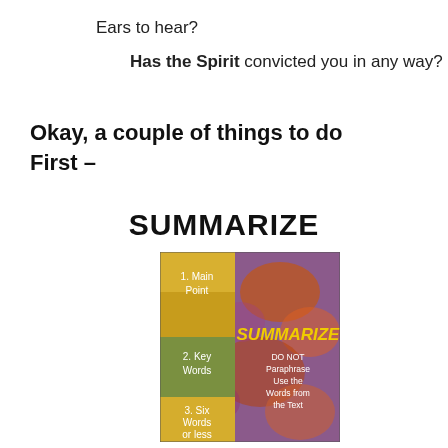Ears to hear?
Has the Spirit convicted you in any way?
Okay, a couple of things to do
First –
SUMMARIZE
[Figure (illustration): Book cover or teaching card showing 'SUMMARIZE' in yellow bold text on a purple/orange textured background, with a left gold/olive sidebar listing: 1. Main Point, 2. Key Words, 3. Six Words or less. Right side reads: DO NOT Paraphrase Use the Words from the Text.]